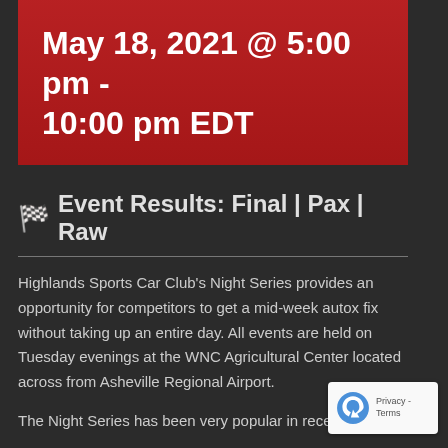May 18, 2021 @ 5:00 pm - 10:00 pm EDT
🏁 Event Results: Final | Pax | Raw
Highlands Sports Car Club's Night Series provides an opportunity for competitors to get a mid-week autox fix without taking up an entire day. All events are held on Tuesday evenings at the WNC Agricultural Center located across from Asheville Regional Airport.
The Night Series has been very popular in recent years with not less than the grow and loyal crowd...